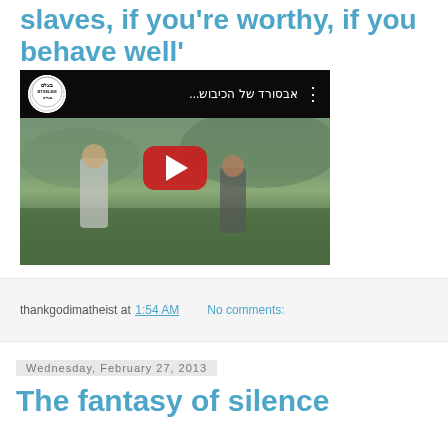slaves, if you're worthy, if you behave well'
[Figure (screenshot): Embedded YouTube video thumbnail showing two men standing outdoors on green/brown terrain. The video title in Hebrew reads 'אבסורד של הכיבוש...' with the B'Tselem logo (circle with text BTSELEM) in the top left corner and a red YouTube play button in the center.]
thankgodimatheist at 1:54 AM   No comments:
Wednesday, February 27, 2013
The fantasy of silence